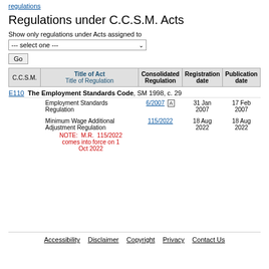regulations
Regulations under C.C.S.M. Acts
Show only regulations under Acts assigned to
--- select one ---
Go
| C.C.S.M. | Title of Act / Title of Regulation | Consolidated Regulation | Registration date | Publication date |
| --- | --- | --- | --- | --- |
| E110 | The Employment Standards Code, SM 1998, c. 29 |  |  |  |
|  | Employment Standards Regulation | 6/2007 A | 31 Jan 2007 | 17 Feb 2007 |
|  | Minimum Wage Additional Adjustment Regulation
NOTE: M.R. 115/2022 comes into force on 1 Oct 2022 | 115/2022 | 18 Aug 2022 | 18 Aug 2022 |
Accessibility   Disclaimer   Copyright   Privacy   Contact Us